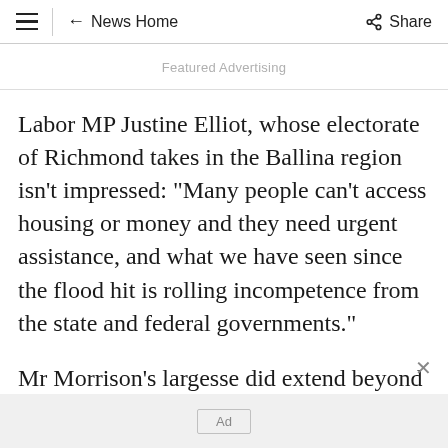≡  ← News Home  Share
Featured Advertising
Labor MP Justine Elliot, whose electorate of Richmond takes in the Ballina region isn't impressed: "Many people can't access housing or money and they need urgent assistance, and what we have seen since the flood hit is rolling incompetence from the state and federal governments."
Mr Morrison's largesse did extend beyond
Ad